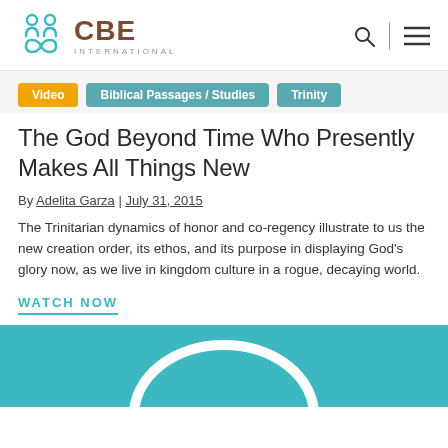[Figure (logo): CBE International logo with teal icon and brown text]
Video
Biblical Passages / Studies
Trinity
The God Beyond Time Who Presently Makes All Things New
By Adelita Garza | July 31, 2015
The Trinitarian dynamics of honor and co-regency illustrate to us the new creation order, its ethos, and its purpose in displaying God's glory now, as we live in kingdom culture in a rogue, decaying world.
WATCH NOW
[Figure (illustration): Teal background thumbnail with white arc/circle graphic]